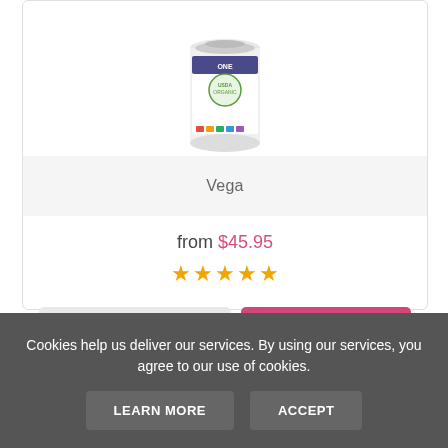[Figure (photo): Product image of Vega brand supplement container (all-in-one shake) with colorful label]
Vega
from $45.95
[Figure (other): Five gold star rating]
VIEW
ADD TO CART
Cookies help us deliver our services. By using our services, you agree to our use of cookies.
LEARN MORE
ACCEPT